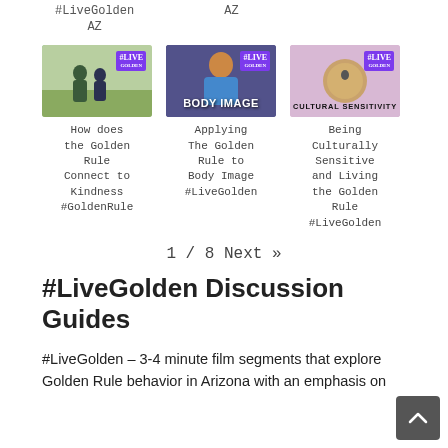#LiveGolden AZ
AZ
[Figure (photo): Thumbnail image of two young people standing outdoors with #LIVE badge in top-right corner]
How does the Golden Rule Connect to Kindness #GoldenRule
[Figure (photo): Thumbnail image showing two people with text BODY IMAGE and #LIVE badge in top-right corner]
Applying The Golden Rule to Body Image #LiveGolden
[Figure (photo): Thumbnail image showing hands holding something with text CULTURAL SENSITIVITY and #LIVE badge in top-right corner]
Being Culturally Sensitive and Living the Golden Rule #LiveGolden
1 / 8  Next »
#LiveGolden Discussion Guides
#LiveGolden – 3-4 minute film segments that explore Golden Rule behavior in Arizona with an emphasis on